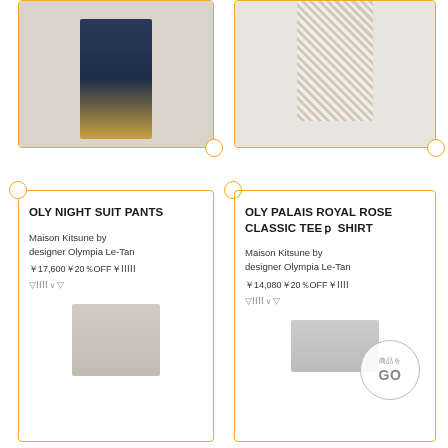[Figure (photo): Fashion model wearing dark navy wide-leg pants with yellow shoes, top portion cut off, left product card image]
[Figure (photo): Fashion model wearing floral white pants/outfit, top portion cut off, right product card image]
OLY NIGHT SUIT PANTS
Maison Kitsune by designer Olympia Le-Tan
￥17,600￥20％OFF￥IIIII
▽ⅠⅠⅠⅠ▽
[Figure (photo): Product thumbnail of floral shirt, bottom of left card]
OLY PALAIS ROYAL ROSE CLASSIC TEEｐ SHIRT
Maison Kitsune by designer Olympia Le-Tan
￥14,080￥20％OFF￥ⅠⅠⅠⅠ
▽ⅠⅠⅠⅠ▽
[Figure (photo): Product thumbnail at bottom of right card]
[Figure (other): GO circle button overlay with Japanese text]